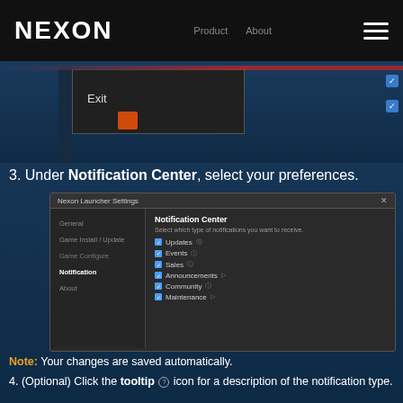NEXON
[Figure (screenshot): Nexon Launcher exit dialog screenshot showing Exit button and orange square icon]
3. Under Notification Center, select your preferences.
[Figure (screenshot): Nexon Launcher Settings dialog showing Notification Center panel with sidebar items (General, Game Install / Update, Game Configure, Notification, About) and checkboxes for Updates, Events, Sales, Announcements, Community, Maintenance]
Note: Your changes are saved automatically.
4. (Optional) Click the tooltip icon for a description of the notification type.